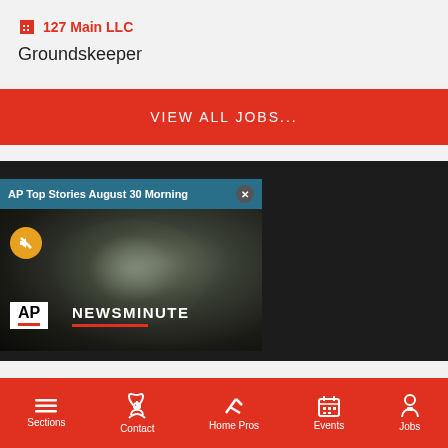127 Main LLC
Groundskeeper
VIEW ALL JOBS...
[Figure (screenshot): AP News video popup overlay showing 'AP Top Stories August 30 Morning' with an AP Newsminute video thumbnail showing earth from space, mute button, and close button, over a dark background]
Sections  Contact  Home Pros  Events  Jobs